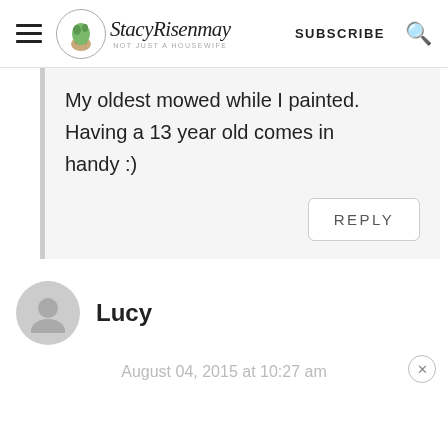StacyRisenmay — NOT JUST A HOUSEWIFE — SUBSCRIBE
My oldest mowed while I painted. Having a 13 year old comes in handy :)
REPLY
Lucy
August 04, 2015 at 10:27 am